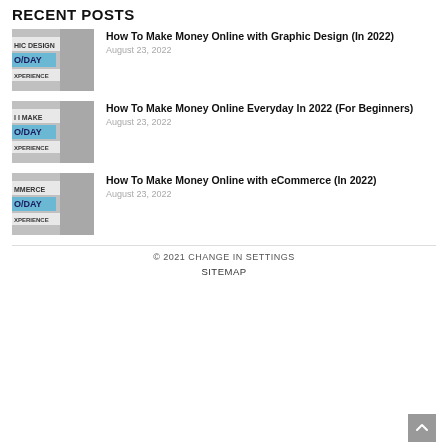RECENT POSTS
How To Make Money Online with Graphic Design (In 2022)
August 23, 2022
How To Make Money Online Everyday In 2022 (For Beginners)
August 23, 2022
How To Make Money Online with eCommerce (In 2022)
August 23, 2022
© 2021 CHANGE IN SETTINGS
SITEMAP